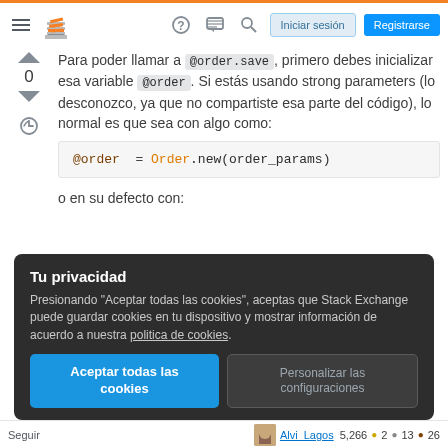Stack Overflow navigation bar with logo, icons, Iniciar sesión and Registrarse buttons
Para poder llamar a @order.save, primero debes inicializar esa variable @order. Si estás usando strong parameters (lo desconozco, ya que no compartiste esa parte del código), lo normal es que sea con algo como:
@order = Order.new(order_params)
o en su defecto con:
Tu privacidad
Presionando "Aceptar todas las cookies", aceptas que Stack Exchange puede guardar cookies en tu dispositivo y mostrar información de acuerdo a nuestra politica de cookies.
Aceptar todas las cookies
Personalizar las configuraciones
Seguir   5,266  2  13  26